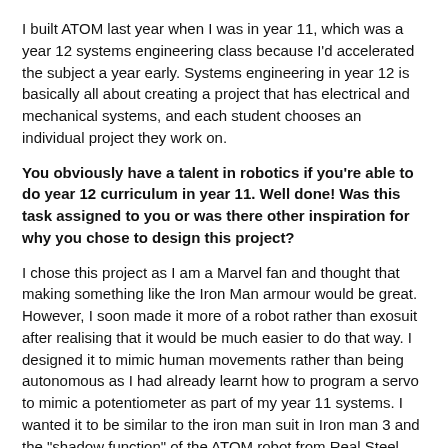I built ATOM last year when I was in year 11, which was a year 12 systems engineering class because I'd accelerated the subject a year early. Systems engineering in year 12 is basically all about creating a project that has electrical and mechanical systems, and each student chooses an individual project they work on.
You obviously have a talent in robotics if you're able to do year 12 curriculum in year 11. Well done! Was this task assigned to you or was there other inspiration for why you chose to design this project?
I chose this project as I am a Marvel fan and thought that making something like the Iron Man armour would be great. However, I soon made it more of a robot rather than exosuit after realising that it would be much easier to do that way. I designed it to mimic human movements rather than being autonomous as I had already learnt how to program a servo to mimic a potentiometer as part of my year 11 systems. I wanted it to be similar to the iron man suit in Iron man 3 and the "shadow function" of the ATOM robot from Real Steel.
Awesome! It's great that Makers can build robots based on inspiration from movies like these. What was the reaction from